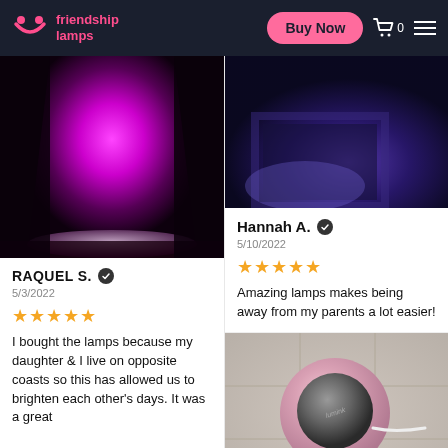friendship lamps | Buy Now
[Figure (photo): Friendship lamp glowing bright magenta/pink in a dark setting]
RAQUEL S. ✓
5/3/2022
★★★★★
I bought the lamps because my daughter & I live on opposite coasts so this has allowed us to brighten each other's days. It was a great
[Figure (photo): Friendship lamp glowing blue/purple in dark setting, top-down view showing lamp face]
Hannah A. ✓
5/10/2022
★★★★★
Amazing lamps makes being away from my parents a lot easier!
[Figure (photo): Pink friendship lamp viewed from above showing dark metallic top surface with brand text, white cable visible, on tile surface]